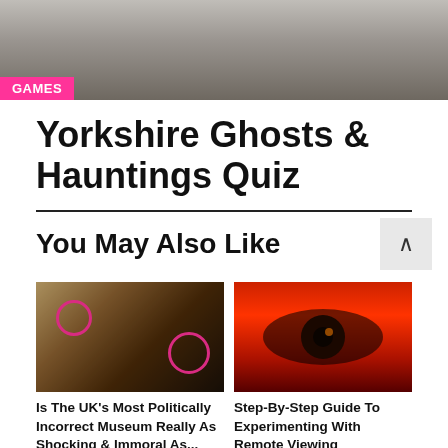[Figure (photo): Street scene with pedestrians walking, partially cropped at top]
GAMES
Yorkshire Ghosts & Hauntings Quiz
You May Also Like
[Figure (photo): Museum display with historically controversial items circled in pink]
[Figure (photo): Close-up of an eye with red tone filter]
Is The UK's Most Politically Incorrect Museum Really As Shocking As It's...
Step-By-Step Guide To Experimenting With Remote Viewing